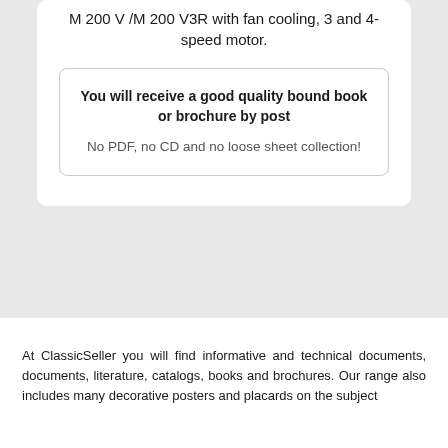M 200 V /M 200 V3R with fan cooling, 3 and 4-speed motor.
You will receive a good quality bound book or brochure by post
No PDF, no CD and no loose sheet collection!
At ClassicSeller you will find informative and technical documents, documents, literature, catalogs, books and brochures. Our range also includes many decorative posters and placards on the subject